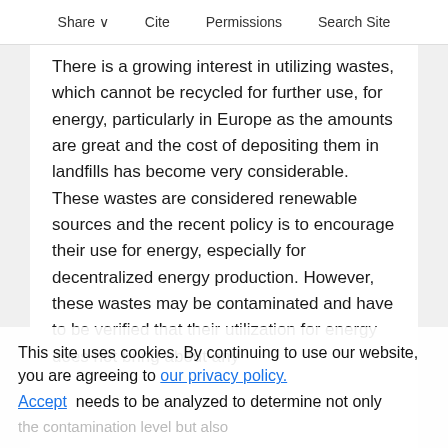Share Cite Permissions Search Site
There is a growing interest in utilizing wastes, which cannot be recycled for further use, for energy, particularly in Europe as the amounts are great and the cost of depositing them in landfills has become very considerable. These wastes are considered renewable sources and the recent policy is to encourage their use for energy, especially for decentralized energy production. However, these wastes may be contaminated and have to be verified that their utilization for energy does not bring about any adverse consequences on the environment. Each sample needs to be analyzed to determine not only
This site uses cookies. By continuing to use our website, you are agreeing to our privacy policy. Accept